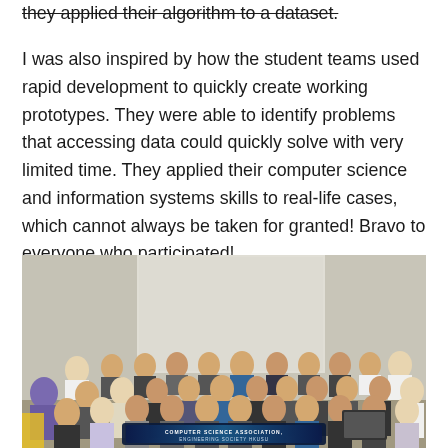they applied their algorithm to a dataset.
I was also inspired by how the student teams used rapid development to quickly create working prototypes. They were able to identify problems that accessing data could quickly solve with very limited time. They applied their computer science and information systems skills to real-life cases, which cannot always be taken for granted! Bravo to everyone who participated!
[Figure (photo): Group photo of approximately 40 students and instructors in a classroom setting, holding a banner that reads 'Computer Science Association, Engineering Society HKUSU']